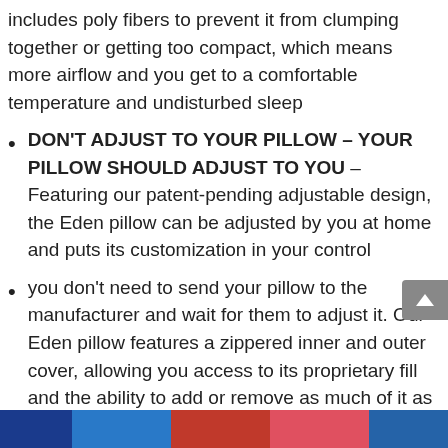includes poly fibers to prevent it from clumping together or getting too compact, which means more airflow and you get to a comfortable temperature and undisturbed sleep
DON’T ADJUST TO YOUR PILLOW – YOUR PILLOW SHOULD ADJUST TO YOU – Featuring our patent-pending adjustable design, the Eden pillow can be adjusted by you at home and puts its customization in your control
you don’t need to send your pillow to the manufacturer and wait for them to adjust it. Our Eden pillow features a zippered inner and outer cover, allowing you access to its proprietary fill and the ability to add or remove as much of it as you need to meet your own unique needs.
SLEEP SMART – You spend the night on your